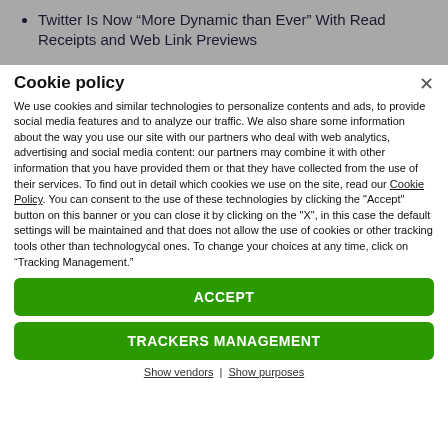Twitter Is Now “More Dynamic than Ever” With Read Receipts and Web Link Previews
Cookie policy
We use cookies and similar technologies to personalize contents and ads, to provide social media features and to analyze our traffic. We also share some information about the way you use our site with our partners who deal with web analytics, advertising and social media content: our partners may combine it with other information that you have provided them or that they have collected from the use of their services. To find out in detail which cookies we use on the site, read our Cookie Policy. You can consent to the use of these technologies by clicking the "Accept" button on this banner or you can close it by clicking on the "X", in this case the default settings will be maintained and that does not allow the use of cookies or other tracking tools other than technologycal ones. To change your choices at any time, click on “Tracking Management.”
ACCEPT
TRACKERS MANAGEMENT
Show vendors | Show purposes